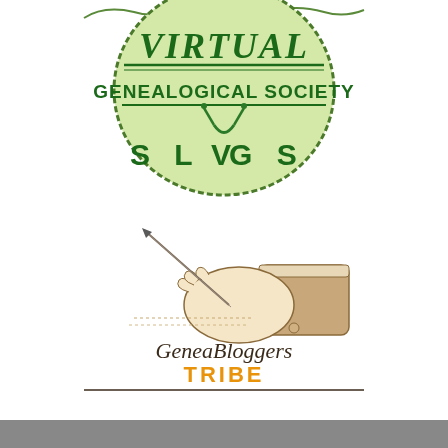[Figure (logo): SLUGS - Sacramento-based Local Users Genealogical Society virtual genealogical society logo with green circular badge and text]
[Figure (logo): GeneaBloggers Tribe logo featuring a vintage illustration of a hand writing with a quill pen, with italic text GeneaBloggers and orange bold text TRIBE below]